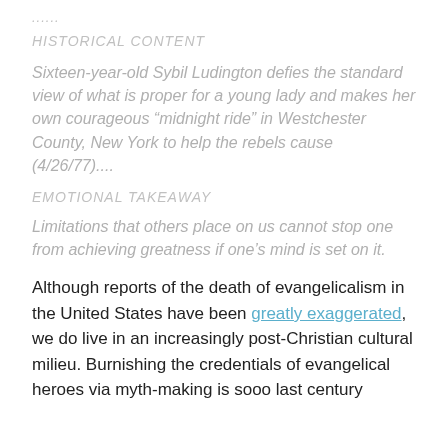......
HISTORICAL CONTENT
Sixteen-year-old Sybil Ludington defies the standard view of what is proper for a young lady and makes her own courageous “midnight ride” in Westchester County, New York to help the rebels cause (4/26/77)....
EMOTIONAL TAKEAWAY
Limitations that others place on us cannot stop one from achieving greatness if one’s mind is set on it.
Although reports of the death of evangelicalism in the United States have been greatly exaggerated, we do live in an increasingly post-Christian cultural milieu. Burnishing the credentials of evangelical heroes via myth-making is sooo last century